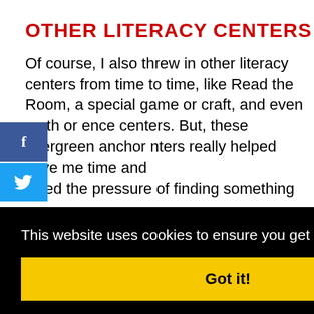OTHER LITERACY CENTERS
Of course, I also threw in other literacy centers from time to time, like Read the Room, a special game or craft, and even math or ence centers. But, these evergreen anchor nters really helped save me time and ieved the pressure of finding something
[Figure (screenshot): Social media share buttons on left side: Facebook (blue) and Twitter (blue) buttons]
[Figure (screenshot): Cookie consent overlay banner with black background. Text: 'This website uses cookies to ensure you get the best experience on our website. Learn more' and a yellow 'Got it!' button.]
s are more invested in doing a great job when they